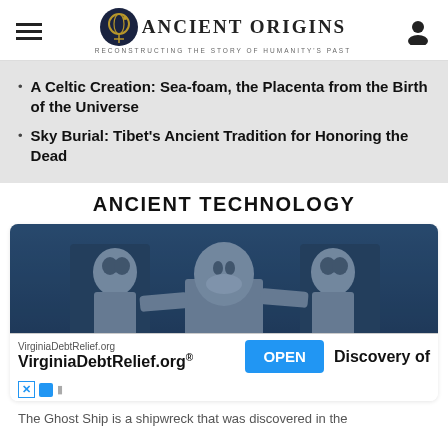Ancient Origins — Reconstructing the Story of Humanity's Past
A Celtic Creation: Sea-foam, the Placenta from the Birth of the Universe
Sky Burial: Tibet's Ancient Tradition for Honoring the Dead
ANCIENT TECHNOLOGY
[Figure (photo): Underwater statues resembling ancient stone figurines, appearing as three humanoid forms in a dark blue underwater environment.]
Discovery of
The Ghost Ship is a shipwreck that was discovered in the